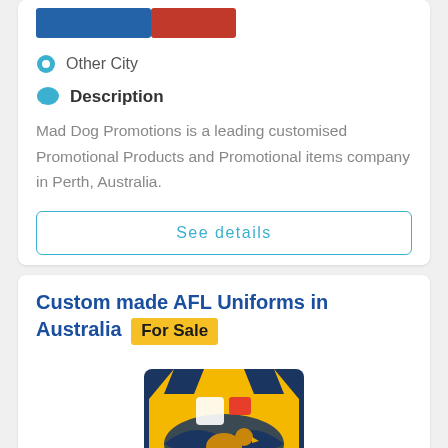[Figure (logo): Company logo bar with blue and red sections]
Other City
Description
Mad Dog Promotions is a leading customised Promotional Products and Promotional items company in Perth, Australia.
See details
Custom made AFL Uniforms in Australia For Sale
[Figure (photo): AFL sports uniform/singlet in gold and navy blue with eagle design]